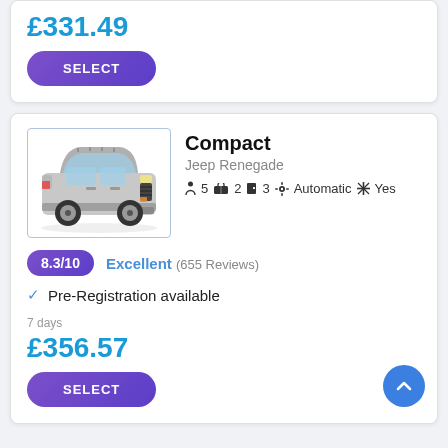£331.49
SELECT
[Figure (photo): Jeep Renegade compact SUV, silver/white color, front three-quarter view]
Compact
Jeep Renegade
5  2  3  Automatic  Yes
8.3/10  Excellent (655 Reviews)
✓ Pre-Registration available
7 days
£356.57
SELECT